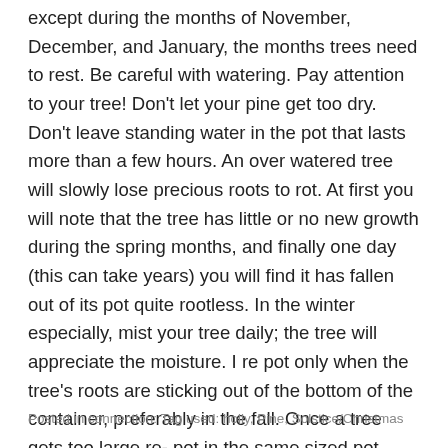except during the months of November, December, and January, the months trees need to rest. Be careful with watering. Pay attention to your tree! Don't let your pine get too dry. Don't leave standing water in the pot that lasts more than a few hours. An over watered tree will slowly lose precious roots to rot. At first you will note that the tree has little or no new growth during the spring months, and finally one day (this can take years) you will find it has fallen out of its pot quite rootless. In the winter especially, mist your tree daily; the tree will appreciate the moisture. I re pot only when the tree's roots are sticking out of the bottom of the container, preferably in the fall. Once a tree gets too large re- pot in the same sized pot after pulling away some roots to make space for new soil. If you follow these simple steps you will have a tree purifying the air in your house, and a delightful Christmas/Solstice/ Tree of Life to accompany you through those long winter nights for years to come.
Posted in connection: Tag used: holly, Pine, Solstice/Christmas